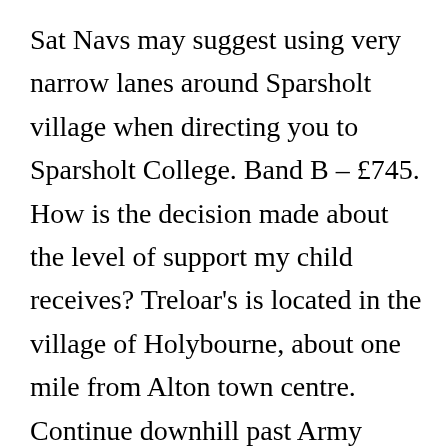Sat Navs may suggest using very narrow lanes around Sparsholt village when directing you to Sparsholt College. Band B – £745. How is the decision made about the level of support my child receives? Treloar's is located in the village of Holybourne, about one mile from Alton town centre. Continue downhill past Army Training Regiment Camp. A tiered system of protection levels is also in operation across Scotland and there are national restrictions in Wales. A South Western Railway spokesperson said the operator has been dealing directly with universities along the network, advising students about travelling safely. Turn left at the Sparsholt College Hampshire sign. In Stock.